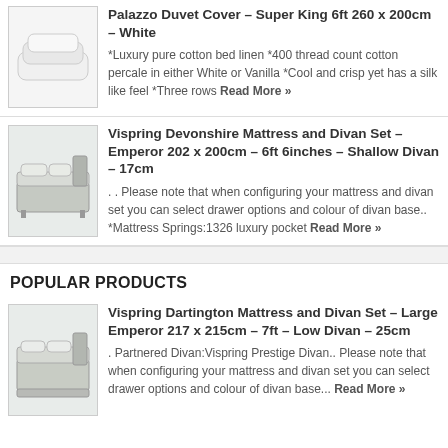[Figure (photo): White duvet/pillow bedding product image]
Palazzo Duvet Cover – Super King 6ft 260 x 200cm – White
*Luxury pure cotton bed linen *400 thread count cotton percale in either White or Vanilla *Cool and crisp yet has a silk like feel *Three rows Read More »
[Figure (photo): Vispring Devonshire mattress and divan set product image]
Vispring Devonshire Mattress and Divan Set – Emperor 202 x 200cm – 6ft 6inches – Shallow Divan – 17cm
. . Please note that when configuring your mattress and divan set you can select drawer options and colour of divan base.. *Mattress Springs:1326 luxury pocket Read More »
POPULAR PRODUCTS
[Figure (photo): Vispring Dartington mattress and divan set product image]
Vispring Dartington Mattress and Divan Set – Large Emperor 217 x 215cm – 7ft – Low Divan – 25cm
. Partnered Divan:Vispring Prestige Divan.. Please note that when configuring your mattress and divan set you can select drawer options and colour of divan base... Read More »